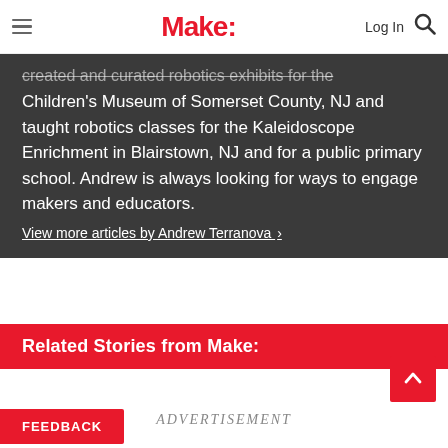Make:
created and curated robotics exhibits for the Children's Museum of Somerset County, NJ and taught robotics classes for the Kaleidoscope Enrichment in Blairstown, NJ and for a public primary school. Andrew is always looking for ways to engage makers and educators.
View more articles by Andrew Terranova ›
Related Stories from Make:
ADVERTISEMENT
FEEDBACK